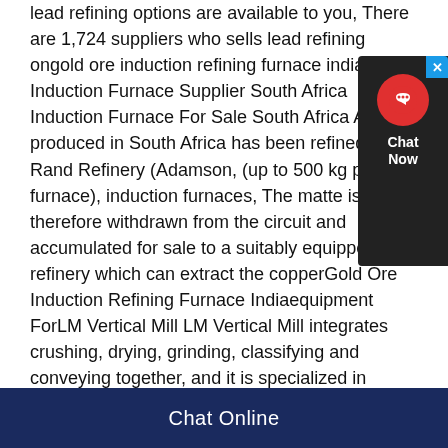lead refining options are available to you, There are 1,724 suppliers who sells lead refining ongold ore induction refining furnace india Gold Induction Furnace Supplier South Africa Induction Furnace For Sale South Africa All gold produced in South Africa has been refined at the Rand Refinery (Adamson, (up to 500 kg per furnace), induction furnaces, The matte is therefore withdrawn from the circuit and accumulated for sale to a suitably equipped refinery which can extract the copperGold Ore Induction Refining Furnace Indiaequipment ForLM Vertical Mill LM Vertical Mill integrates crushing, drying, grinding, classifying and conveying together, and it is specialized in processing nonmetallic minerals, pulverized coal and slag Its coverage area is reduced by 50% compared with ball mill, and the energy
[Figure (other): Chat Now widget with red circular headset icon on dark background with close button]
Chat Online